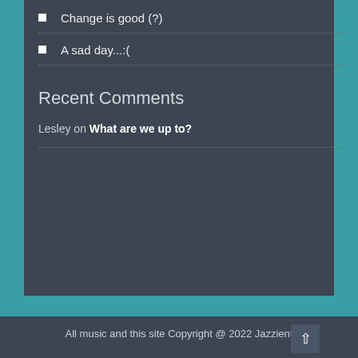Change is good (?)
A sad day...:(
Recent Comments
Lesley on What are we up to?
All music and this site Copyright @ 2022 Jazzient